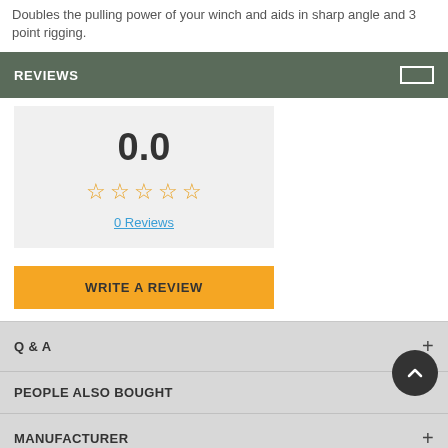Doubles the pulling power of your winch and aids in sharp angle and 3 point rigging.
REVIEWS
[Figure (other): Rating box showing 0.0 rating with 5 empty gold stars and '0 Reviews' link]
WRITE A REVIEW
Q & A
PEOPLE ALSO BOUGHT
MANUFACTURER